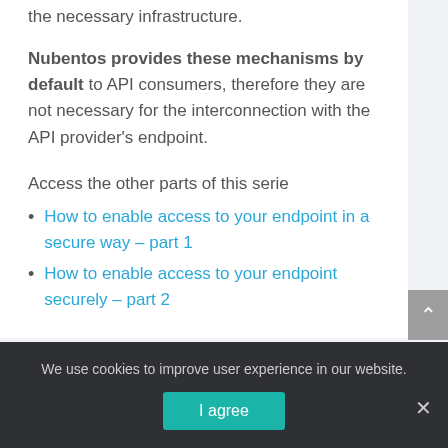the necessary infrastructure.
Nubentos provides these mechanisms by default to API consumers, therefore they are not necessary for the interconnection with the API provider's endpoint.
Access the other parts of this serie
How to enable access to your endpoint in a secure way – part 1
How to enable access to your endpoint securely – part 2
We use cookies to improve user experience in our website.
I agree